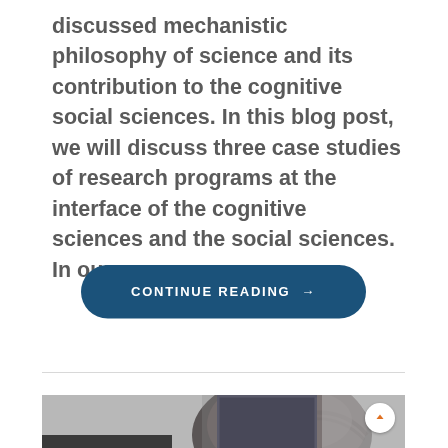discussed mechanistic philosophy of science and its contribution to the cognitive social sciences. In this blog post, we will discuss three case studies of research programs at the interface of the cognitive sciences and the social sciences. In our cases, ...
CONTINUE READING →
[Figure (photo): Black and white photo of a person from behind, appearing to be reading or studying, partially cropped at the bottom of the page]